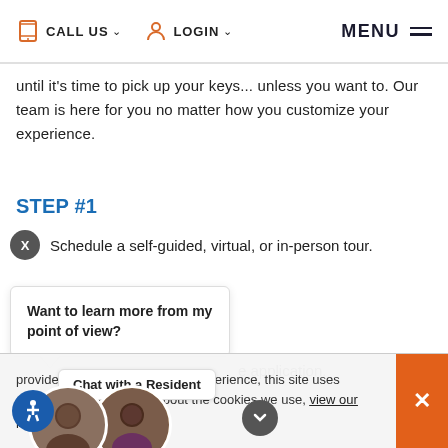CALL US  LOGIN  MENU
until it's time to pick up your keys... unless you want to. Our team is here for you no matter how you customize your experience.
STEP #1
Schedule a self-guided, virtual, or in-person tour.
Want to learn more from my point of view?
e application.
[Figure (photo): Two overlapping circular avatar photos of residents]
Chat with a Resident
provide you with the best possible erience, this site uses cookies. For nformation about the cookies we use, view our policy.
act Property